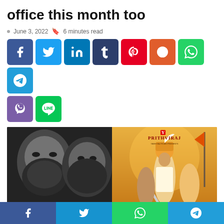office this month too
June 3, 2022  6 minutes read
[Figure (infographic): Social media share buttons row: Facebook (blue), Twitter (light blue), LinkedIn (dark blue), Tumblr (navy), Pinterest (red), Reddit (orange-red), WhatsApp (green), Telegram (blue), then second row: Viber (purple), Line (green)]
[Figure (photo): Left half: black and white close-up of bearded men's faces. Right half: Prithviraj movie poster with costumed warrior characters in golden/orange tones.]
[Figure (infographic): Bottom share bar with Facebook, Twitter, WhatsApp, Telegram buttons]